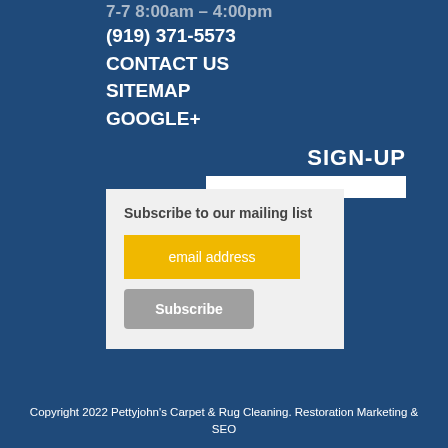7-7 8:00am – 4:00pm
(919) 371-5573
CONTACT US
SITEMAP
GOOGLE+
SIGN-UP
Subscribe to our mailing list
email address
Subscribe
Copyright 2022 Pettyjohn's Carpet & Rug Cleaning. Restoration Marketing & SEO